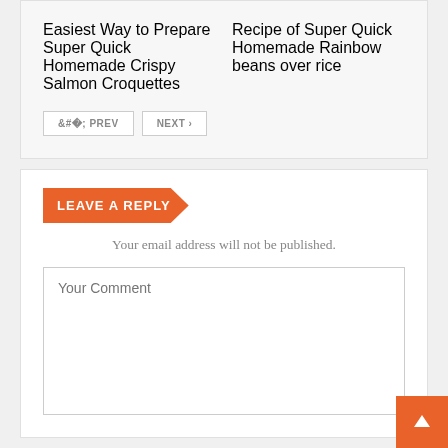Easiest Way to Prepare Super Quick Homemade Crispy Salmon Croquettes
Recipe of Super Quick Homemade Rainbow beans over rice
< PREV
NEXT >
LEAVE A REPLY
Your email address will not be published.
Your Comment